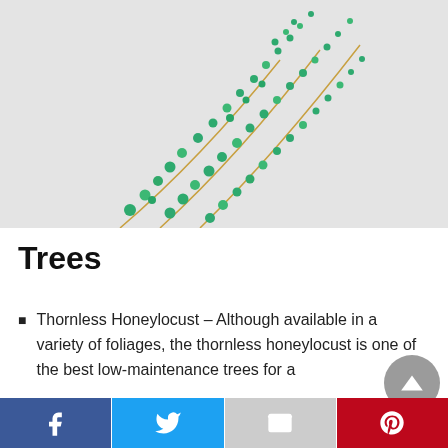[Figure (photo): A climbing plant or vine with small round green leaves and beads arranged diagonally against a light grey/white background]
Trees
Thornless Honeylocust – Although available in a variety of foliages, the thornless honeylocust is one of the best low-maintenance trees for a
Social share bar with Facebook, Twitter, Gmail, and Pinterest buttons